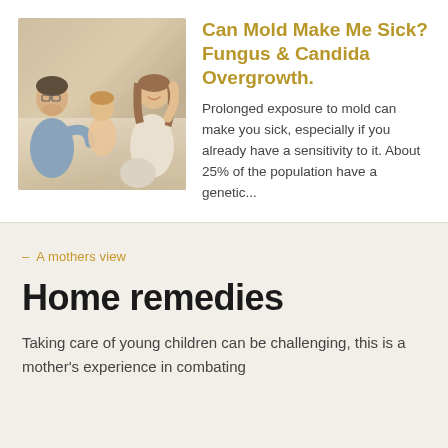[Figure (photo): A family with two adults and a child laughing and playing together on the floor in a home setting]
Can Mold Make Me Sick? Fungus & Candida Overgrowth.
Prolonged exposure to mold can make you sick, especially if you already have a sensitivity to it. About 25% of the population have a genetic...
– A mothers view
Home remedies
Taking care of young children can be challenging, this is a mother's experience in combating